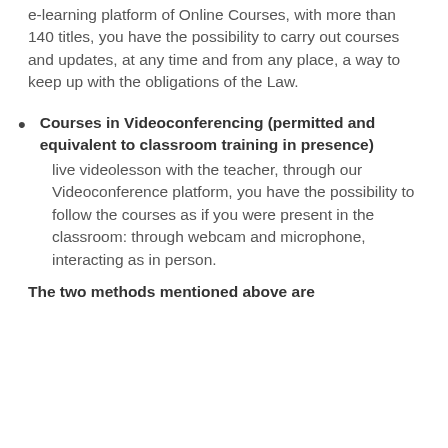e-learning platform of Online Courses, with more than 140 titles, you have the possibility to carry out courses and updates, at any time and from any place, a way to keep up with the obligations of the Law.
Courses in Videoconferencing (permitted and equivalent to classroom training in presence)
live videolesson with the teacher, through our Videoconference platform, you have the possibility to follow the courses as if you were present in the classroom: through webcam and microphone, interacting as in person.
The two methods mentioned above are